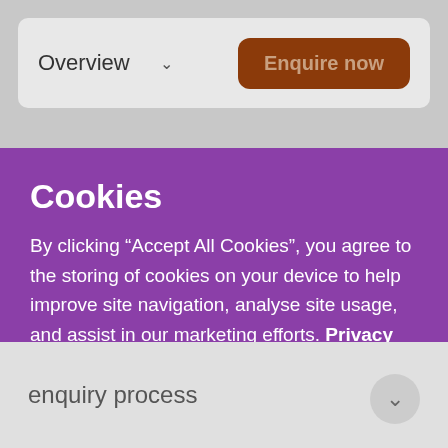Overview ∨
Enquire now
Cookies
By clicking “Accept All Cookies”, you agree to the storing of cookies on your device to help improve site navigation, analyse site usage, and assist in our marketing efforts. Privacy Policy
Cookies Settings
Accept All Cookies
enquiry process